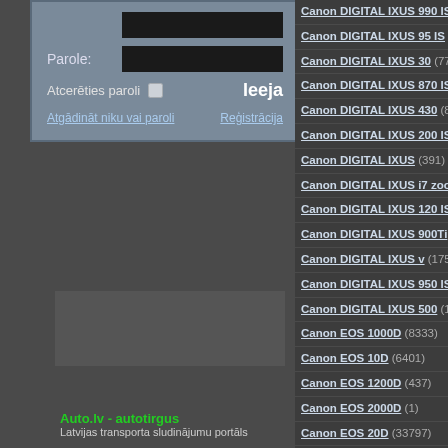[Figure (screenshot): Login form with Parole (password) label, dark input field, remember checkbox, Ieeja button, links for forgot credentials and registration]
Canon DIGITAL IXUS 990 IS (4...)
Canon DIGITAL IXUS 95 IS (18...)
Canon DIGITAL IXUS 30 (7714...)
Canon DIGITAL IXUS 870 IS (...)
Canon DIGITAL IXUS 430 (803...)
Canon DIGITAL IXUS 200 IS (...)
Canon DIGITAL IXUS (391)
Canon DIGITAL IXUS i7 zoom
Canon DIGITAL IXUS 120 IS (...)
Canon DIGITAL IXUS 900Ti (5...)
Canon DIGITAL IXUS v (175)
Canon DIGITAL IXUS 950 IS (...)
Canon DIGITAL IXUS 500 (155...)
Canon EOS 1000D (8333)
Canon EOS 10D (6401)
Canon EOS 1200D (437)
Canon EOS 2000D (1)
Canon EOS 20D (33797)
Canon EOS 300D DIGITAL (1...)
Auto.lv - autotirgus
Latvijas transporta sludinājumu portāls